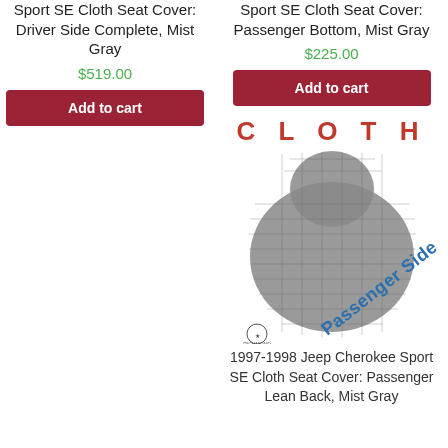Sport SE Cloth Seat Cover: Driver Side Complete, Mist Gray
$519.00
Add to cart
Sport SE Cloth Seat Cover: Passenger Bottom, Mist Gray
$225.00
Add to cart
[Figure (photo): Gray cloth seat cover image with 'CLOTH' text in red above and 'Passenger Side' text overlaid diagonally in blue. Richmond logo at bottom left.]
1997-1998 Jeep Cherokee Sport SE Cloth Seat Cover: Passenger Lean Back, Mist Gray